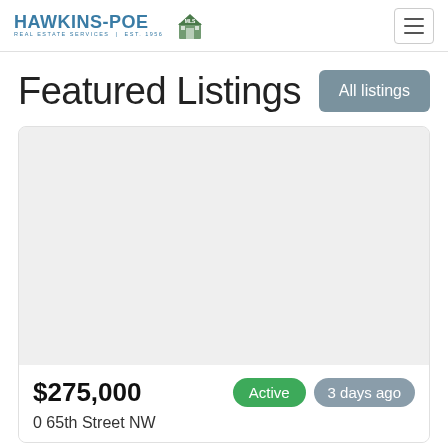Hawkins-Poe Real Estate Services | Est. 1956
Featured Listings
All listings
[Figure (photo): Gray placeholder image for a property listing]
$275,000
Active
3 days ago
0 65th Street NW